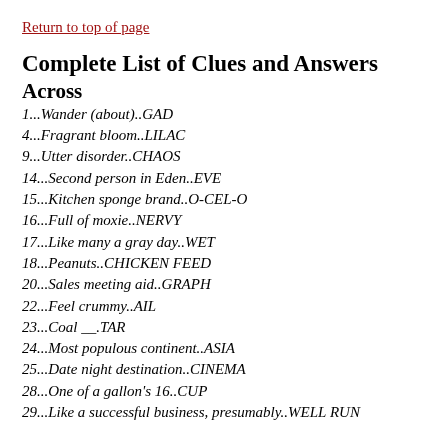Return to top of page
Complete List of Clues and Answers
Across
1...Wander (about)..GAD
4...Fragrant bloom..LILAC
9...Utter disorder..CHAOS
14...Second person in Eden..EVE
15...Kitchen sponge brand..O-CEL-O
16...Full of moxie..NERVY
17...Like many a gray day..WET
18...Peanuts..CHICKEN FEED
20...Sales meeting aid..GRAPH
22...Feel crummy..AIL
23...Coal __.TAR
24...Most populous continent..ASIA
25...Date night destination..CINEMA
28...One of a gallon's 16..CUP
29...Like a successful business, presumably..WELL RUN